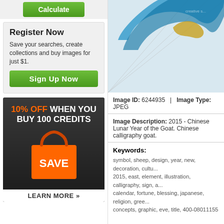[Figure (other): Green Calculate button at top of left sidebar]
Register Now
Save your searches, create collections and buy images for just $1.
Sign Up Now
[Figure (infographic): Promotional banner: 10% OFF WHEN YOU BUY 100 CREDITS, orange shopping bag with SAVE text, LEARN MORE button]
[Figure (illustration): Chinese calligraphy goat image preview - blue and gold decorative art]
Image ID: 6244935   |   Image Type: JPEG
Image Description: 2015 - Chinese Lunar Year of the Goat. Chinese calligraphy goat.
Keywords:
symbol, sheep, design, year, new, decoration, cultu... 2015, east, element, illustration, calligraphy, sign, a... calendar, fortune, blessing, japanese, religion, gree... concepts, graphic, eve, title, 400-08011155